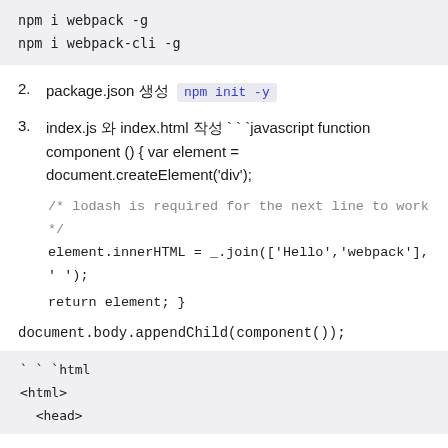npm i webpack -g
npm i webpack-cli -g
2. package.json 생성  npm init -y
3. index.js 와 index.html 작성 ```javascript function component () { var element = document.createElement('div');

/* lodash is required for the next line to work */
element.innerHTML = _.join(['Hello','webpack'], ' ');

return element; }

document.body.appendChild(component());
```html
<html>
  <head>